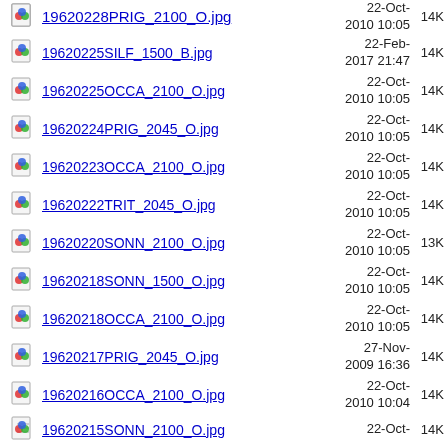19620228PRIG_2100_O.jpg  22-Oct-2010 10:05  14K
19620225SILF_1500_B.jpg  22-Feb-2017 21:47  14K
19620225OCCA_2100_O.jpg  22-Oct-2010 10:05  14K
19620224PRIG_2045_O.jpg  22-Oct-2010 10:05  14K
19620223OCCA_2100_O.jpg  22-Oct-2010 10:05  14K
19620222TRIT_2045_O.jpg  22-Oct-2010 10:05  14K
19620220SONN_2100_O.jpg  22-Oct-2010 10:05  13K
19620218SONN_1500_O.jpg  22-Oct-2010 10:05  14K
19620218OCCA_2100_O.jpg  22-Oct-2010 10:05  14K
19620217PRIG_2045_O.jpg  27-Nov-2009 16:36  14K
19620216OCCA_2100_O.jpg  22-Oct-2010 10:04  14K
19620215SONN_2100_O.jpg  22-Oct-2010  14K